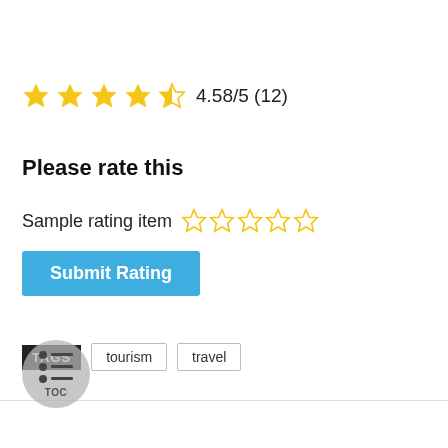[Figure (other): Star rating display showing 4.58/5 with 4 full stars, 1 half star, and score text '4.58/5 (12)']
Please rate this
Sample rating item ☆☆☆☆☆
Submit Rating
TAGS   tourism   travel
[Figure (other): TOC (Table of Contents) circular button with list icon and 'TOC' label]